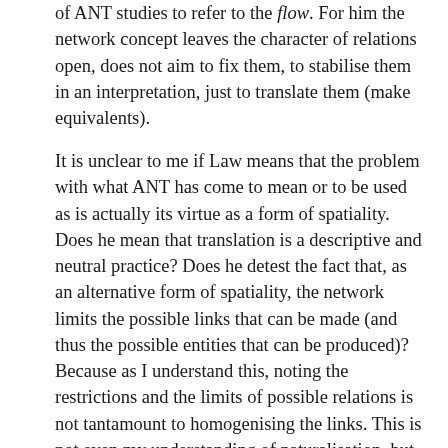of ANT studies to refer to the flow. For him the network concept leaves the character of relations open, does not aim to fix them, to stabilise them in an interpretation, just to translate them (make equivalents).
It is unclear to me if Law means that the problem with what ANT has come to mean or to be used as is actually its virtue as a form of spatiality. Does he mean that translation is a descriptive and neutral practice? Does he detest the fact that, as an alternative form of spatiality, the network limits the possible links that can be made (and thus the possible entities that can be produced)? Because as I understand this, noting the restrictions and the limits of possible relations is not tantamount to homogenising the links. This is not even my understanding of naturalisation, but on  the contrary, of de-naturalisation.  Seeing the notion of the network as an endless possibility and unproblematically incorporating it as an alternative topology carries itself certain assumptions and has its own underpinnings of socio-technical practices. It is